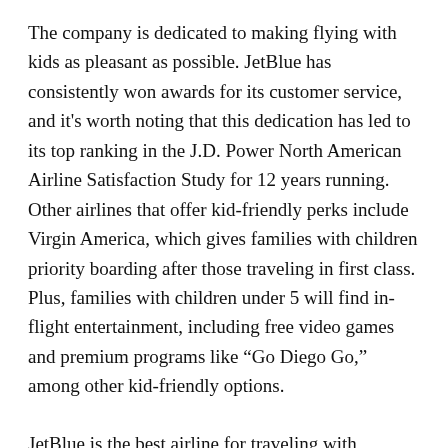The company is dedicated to making flying with kids as pleasant as possible. JetBlue has consistently won awards for its customer service, and it's worth noting that this dedication has led to its top ranking in the J.D. Power North American Airline Satisfaction Study for 12 years running. Other airlines that offer kid-friendly perks include Virgin America, which gives families with children priority boarding after those traveling in first class. Plus, families with children under 5 will find in-flight entertainment, including free video games and premium programs like “Go Diego Go,” among other kid-friendly options.
JetBlue is the best airline for traveling with children. Its spacious seats, free WiFi, and on-board entertainment are all great features for families. It also has one of the